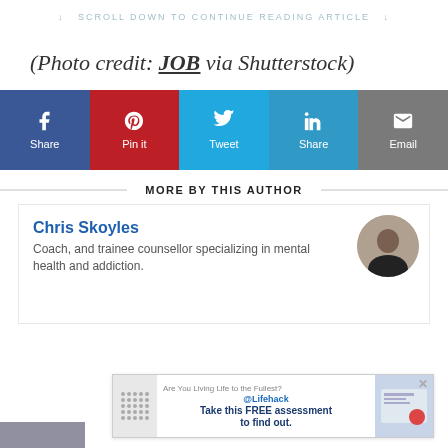↓ SCROLL DOWN TO CONTINUE READING ARTICLE ↓
(Photo credit: JOB via Shutterstock)
[Figure (infographic): Social share bar with Facebook Share, Pinterest Pin it, Twitter Tweet, LinkedIn Share, and Email buttons]
MORE BY THIS AUTHOR
Chris Skoyles
Coach, and trainee counsellor specializing in mental health and addiction.
[Figure (infographic): Lifehack advertisement banner: Are You Living Life to the Fullest? Take this FREE assessment to find out.]